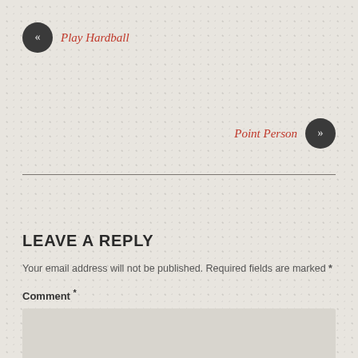« Play Hardball
Point Person »
LEAVE A REPLY
Your email address will not be published. Required fields are marked *
Comment *